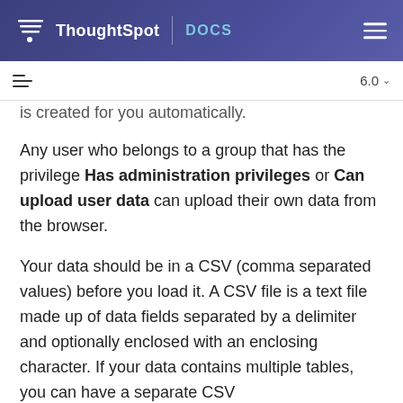ThoughtSpot | DOCS
is created for you automatically.
Any user who belongs to a group that has the privilege Has administration privileges or Can upload user data can upload their own data from the browser.
Your data should be in a CSV (comma separated values) before you load it. A CSV file is a text file made up of data fields separated by a delimiter and optionally enclosed with an enclosing character. If your data contains multiple tables, you can have a separate CSV